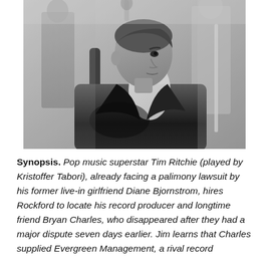[Figure (photo): Black and white photograph of a man (Kristoffer Tabori as Tim Ritchie) seated in a chair, wearing a dark jacket and light checkered shirt, looking to the side. Other figures visible in the background.]
Synopsis. Pop music superstar Tim Ritchie (played by Kristoffer Tabori), already facing a palimony lawsuit by his former live-in girlfriend Diane Bjornstrom, hires Rockford to locate his record producer and longtime friend Bryan Charles, who disappeared after they had a major dispute seven days earlier. Jim learns that Charles supplied Evergreen Management, a rival record